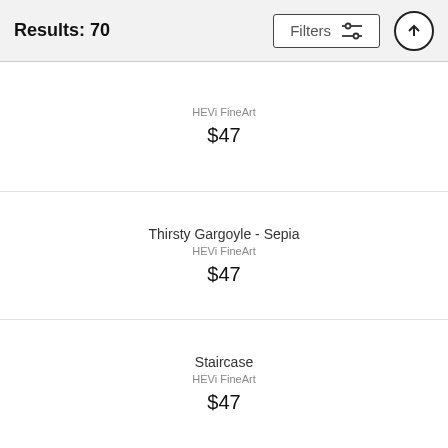Results: 70
HEVi FineArt
$47
Thirsty Gargoyle - Sepia
HEVi FineArt
$47
Staircase
HEVi FineArt
$47